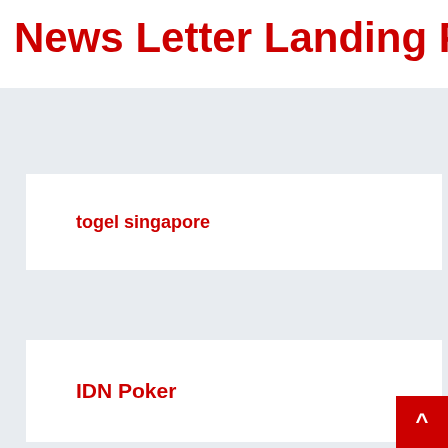News Letter Landing Pag
togel singapore
IDN Poker
satta matka
togel hari ini